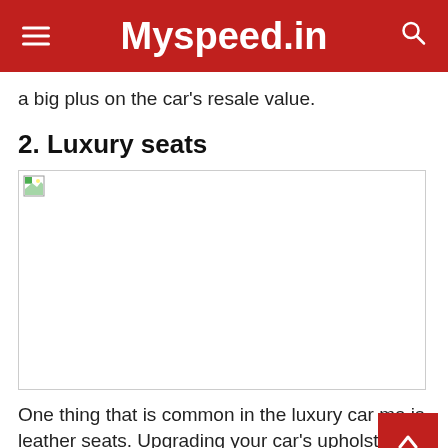Myspeed.in
a big plus on the car's resale value.
2. Luxury seats
[Figure (photo): Broken/missing image placeholder for luxury car seats photo]
One thing that is common in the luxury car ma is leather seats. Upgrading your car's upholstery to